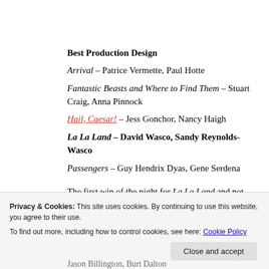Best Production Design
Arrival – Patrice Vermette, Paul Hotte
Fantastic Beasts and Where to Find Them – Stuart Craig, Anna Pinnock
Hail, Caesar! – Jess Gonchor, Nancy Haigh
La La Land – David Wasco, Sandy Reynolds-Wasco
Passengers – Guy Hendrix Dyas, Gene Serdena
The first win of the night for La La Land and not
Jason Billington, Burt Dalton
Privacy & Cookies: This site uses cookies. By continuing to use this website, you agree to their use. To find out more, including how to control cookies, see here: Cookie Policy